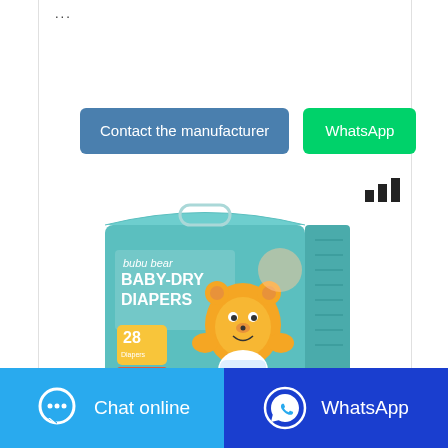...
[Figure (screenshot): Contact the manufacturer (blue button) and WhatsApp (green button) side by side]
[Figure (infographic): Bar chart icon (three vertical bars of increasing height)]
[Figure (photo): Bubu Bear Baby-Dry Diapers product package — teal box with cartoon bear, 28 diapers, size L]
[Figure (screenshot): Bottom bar with Chat online (light blue) and WhatsApp (dark blue) buttons]